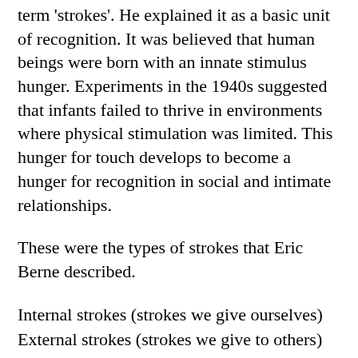term 'strokes'. He explained it as a basic unit of recognition. It was believed that human beings were born with an innate stimulus hunger. Experiments in the 1940s suggested that infants failed to thrive in environments where physical stimulation was limited. This hunger for touch develops to become a hunger for recognition in social and intimate relationships.
These were the types of strokes that Eric Berne described.
Internal strokes (strokes we give ourselves)
External strokes (strokes we give to others)
Unconditional strokes (strokes for being)
Conditional strokes (strokes for doing)